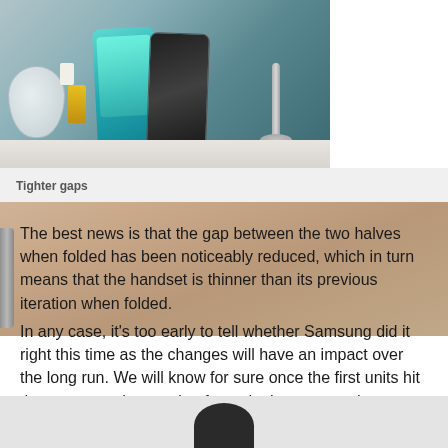[Figure (photo): Two photos side by side: left photo shows Samsung foldable phones displayed on a white table with a white geometric vase and yellow bottle in background; right photo shows a close-up of finger touching the edge of a folded phone showing the gap.]
Tighter gaps
The best news is that the gap between the two halves when folded has been noticeably reduced, which in turn means that the handset is thinner than its previous iteration when folded.
In any case, it's too early to tell whether Samsung did it right this time as the changes will have an impact over the long run. We will know for sure once the first units hit the streets and a couple of months have passed.
[Figure (photo): Partial bottom image showing a dark silhouette/device at the bottom of the page against a light gray background.]